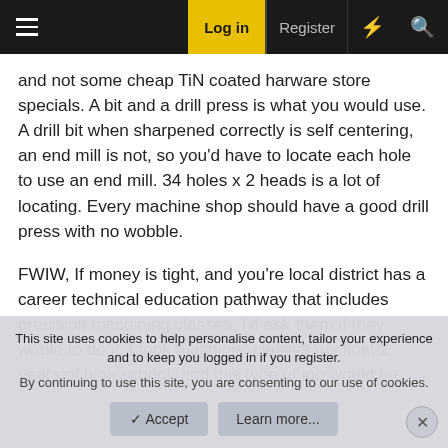Navigation bar with hamburger menu, Log in, Register, and search icons
and not some cheap TiN coated harware store specials. A bit and a drill press is what you would use. A drill bit when sharpened correctly is self centering, an end mill is not, so you'd have to locate each hole to use an end mill. 34 holes x 2 heads is a lot of locating. Every machine shop should have a good drill press with no wobble.
FWIW, If money is tight, and you're local district has a career technical education pathway that includes precision machining classes, I'd ask them if they would to do it. I took machinist classes my final 2 years of high school, and this type of job would be something we would do for
This site uses cookies to help personalise content, tailor your experience and to keep you logged in if you register.
By continuing to use this site, you are consenting to our use of cookies.